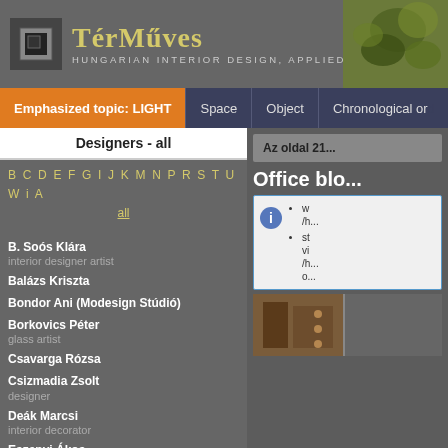TérMűves — HUNGARIAN INTERIOR DESIGN, APPLIED ARTS
Emphasized topic: LIGHT | Space | Object | Chronological order
Designers - all
B C D E F G I J K M N P R S T U W i A — all
B. Soós Klára — interior designer artist
Balázs Kriszta
Bondor Ani (Modesign Stúdió)
Borkovics Péter — glass artist
Csavarga Rózsa
Csizmadia Zsolt — designer
Deák Marcsi — interior decorator
Eszenyi Ákos
Finta Csaba
Földi Kinga — textile designer
Gergely László
Gyürky R. András — interior designer, architect, set decorator, specialist writer
Illés Attila — junior interior art dez...
Az oldal 21...
Office blo...
• w /h...
• st vi /h... o...